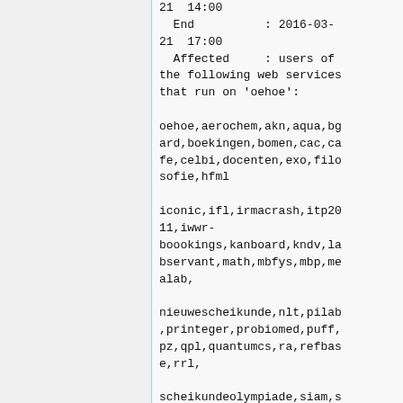21  14:00
  End          : 2016-03-21  17:00
  Affected     : users of the following web services that run on 'oehoe':

oehoe,aerochem,akn,aqua,bgard,boekingen,bomen,cac,cafe,celbi,docenten,exo,filosofie,hfml

iconic,ifl,irmacrash,itp2011,iwwr-boookings,kanboard,kndv,labservant,math,mbfys,mbp,mealab,

nieuwescheikunde,nlt,pilab,printeger,probiomed,puff,pz,qpl,quantumcs,ra,refbase,rrl,

scheikundeolympiade,siam,sigma,